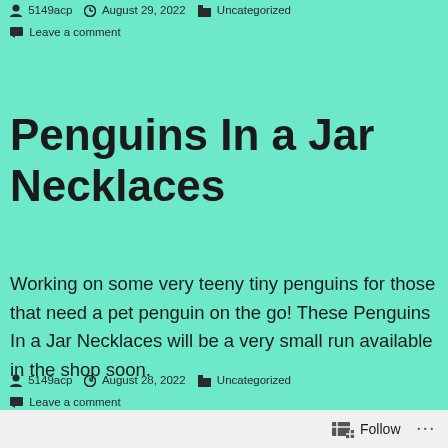5149acp   August 29, 2022   Uncategorized   Leave a comment
Penguins In a Jar Necklaces
Working on some very teeny tiny penguins for those that need a pet penguin on the go! These Penguins In a Jar Necklaces will be a very small run available in the shop soon.
5149acp   August 28, 2022   Uncategorized   Leave a comment